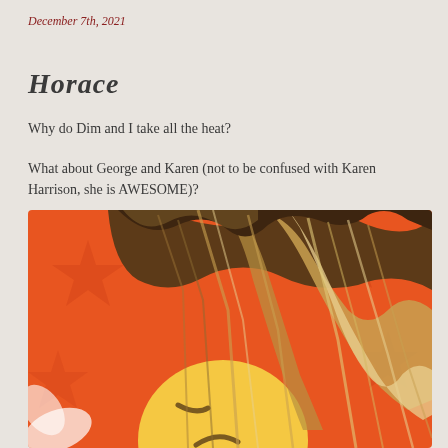December 7th, 2021
Horace
Why do Dim and I take all the heat?
What about George and Karen (not to be confused with Karen Harrison, she is AWESOME)?
[Figure (photo): A meme image showing a confused/sad emoji face with long highlighted brown-and-blonde hair, set against an orange background with star shapes.]